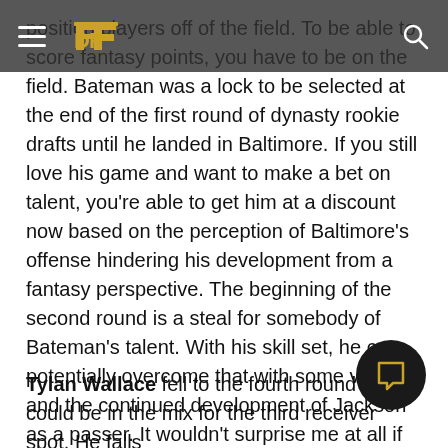DF [logo] [search icon]
position players off of the field. To be able to score fantasy points, you have to be on the field. Bateman was a lock to be selected at the end of the first round of dynasty rookie drafts until he landed in Baltimore. If you still love his game and want to make a bet on talent, you're able to get him at a discount now based on the perception of Baltimore's offense hindering his development from a fantasy perspective. The beginning of the second round is a steal for somebody of Bateman's talent. With his skill set, he can potentially overcome that with some volume and the continued development of Jackson as a passer. It wouldn't surprise me at all if Bateman led this team in targets for 2021 and beyond.
Tylan Wallace fell to the fourth round but could be in the mix for the third receiver spot. He falls